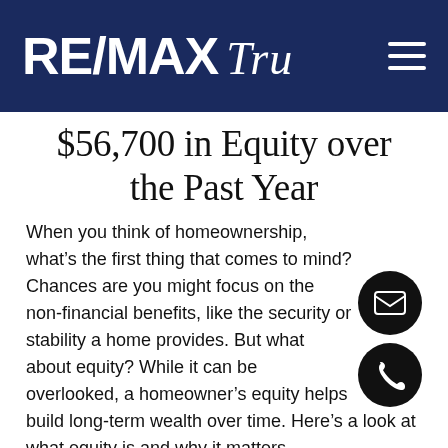RE/MAX TRU
$56,700 in Equity over the Past Year
When you think of homeownership, what’s the first thing that comes to mind? Chances are you might focus on the non-financial benefits, like the security or stability a home provides. But what about equity? While it can be overlooked, a homeowner’s equity helps build long-term wealth over time. Here’s a look at what equity is and why it matters.
Equity...